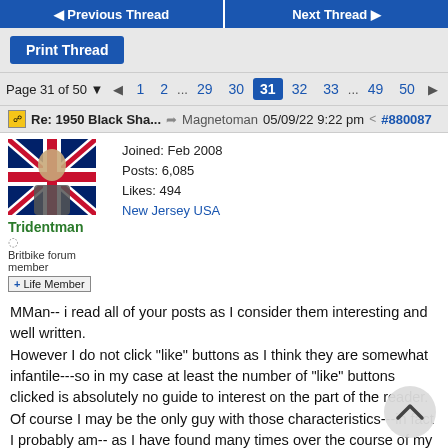◄ Previous Thread   Next Thread ►
Print Thread
Page 31 of 50 ▼  ◄  1  2  ...  29  30  31  32  33  ...  49  50  ►
Re: 1950 Black Sha... ➤ Magnetoman  05/09/22 9:22 pm  #880087
Tridentman
Britbike forum member
+ Life Member
Joined: Feb 2008
Posts: 6,085
Likes: 494
New Jersey USA
MMan-- i read all of your posts as I consider them interesting and well written.
However I do not click "like" buttons as I think they are somewhat infantile---so in my case at least the number of "like" buttons clicked is absolutely no guide to interest on the part of the reader.
Of course I may be the only guy with those characteristics---in fact I probably am-- as I have found many times over the course of my life.
But as I say to my wife--- that just means the other guys have got it wrong!